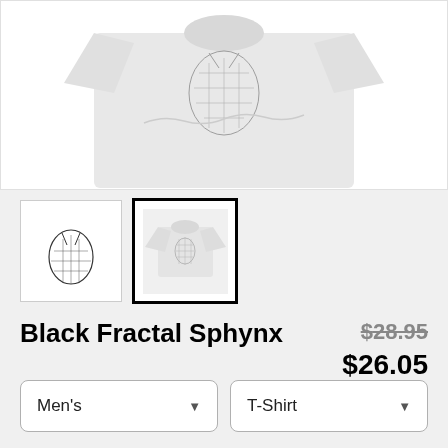[Figure (photo): Main product image: a light grey t-shirt with a black fractal sphynx cat illustration on the front, shown folded/displayed from above]
[Figure (photo): Thumbnail 1: close-up of the fractal sphynx cat head illustration in black ink]
[Figure (photo): Thumbnail 2 (selected, with black border): the grey t-shirt with fractal sphynx cat graphic, small view]
Black Fractal Sphynx
$28.95 (strikethrough original price) $26.05 (sale price)
Men's (dropdown)
T-Shirt (dropdown)
SELECT YOUR FIT